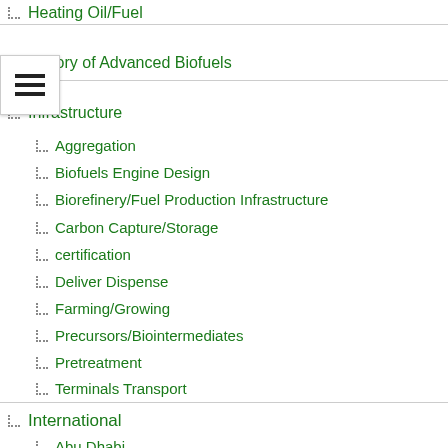Heating Oil/Fuel
History of Advanced Biofuels
Infrastructure
Aggregation
Biofuels Engine Design
Biorefinery/Fuel Production Infrastructure
Carbon Capture/Storage
certification
Deliver Dispense
Farming/Growing
Precursors/Biointermediates
Pretreatment
Terminals Transport
International
Abu Dhabi
Afghanistan
Africa
Algeria
Angola
Antarctica
Argentina
Armenia
Aruba